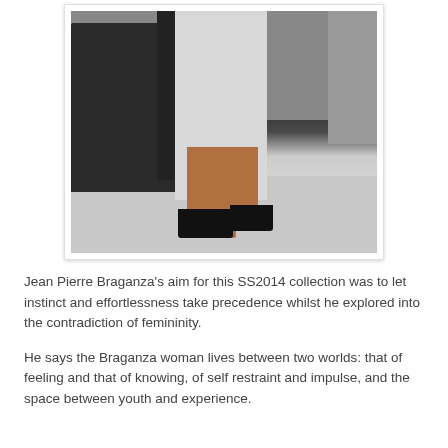[Figure (photo): Fashion runway photo showing a model walking in a black and white dress with black wedge heels, with dark-clad figures in the background on a light grey runway.]
Jean Pierre Braganza's aim for this SS2014 collection was to let instinct and effortlessness take precedence whilst he explored into the contradiction of femininity.
He says the Braganza woman lives between two worlds: that of feeling and that of knowing, of self restraint and impulse, and the space between youth and experience.